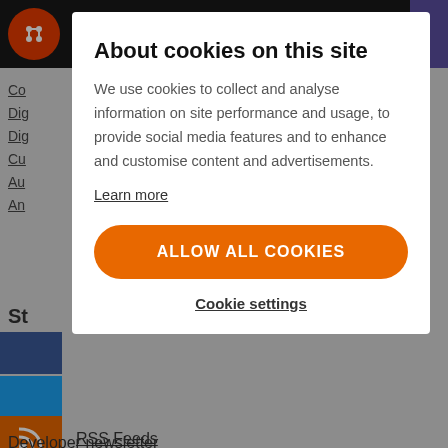[Figure (screenshot): Website navigation bar with dark background, orange circular logo on left, purple rectangle on right. Partially visible navigation links below: Co, Dig, Dig, Cu, Au, An. Share section with social media icons (Facebook blue, Twitter blue, RSS orange). RSS Feeds link and Developer newsletter link visible at bottom.]
About cookies on this site
We use cookies to collect and analyse information on site performance and usage, to provide social media features and to enhance and customise content and advertisements.
Learn more
ALLOW ALL COOKIES
Cookie settings
RSS Feeds
Developer newsletter